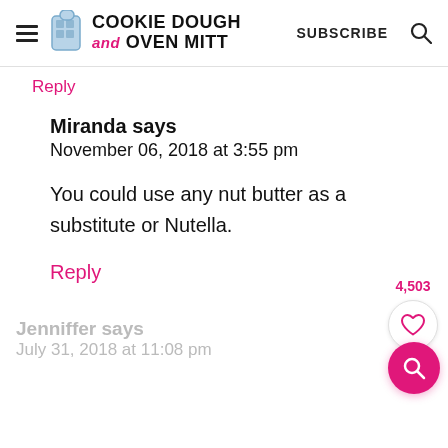Cookie Dough and Oven Mitt | SUBSCRIBE
Reply
Miranda says
November 06, 2018 at 3:55 pm
You could use any nut butter as a substitute or Nutella.
Reply
Jenniffer says
July 31, 2018 at 11:08 pm